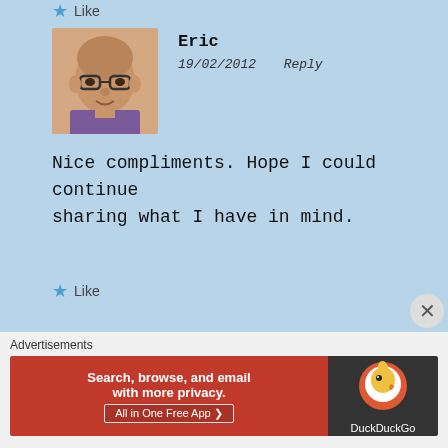Like
Eric
19/02/2012   Reply
Nice compliments. Hope I could continue sharing what I have in mind.
Like
John Chair
18/02/2012   Reply
Advertisements
Search, browse, and email with more privacy. All in One Free App   DuckDuckGo